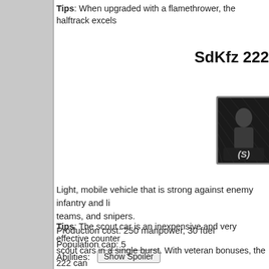Tips: When upgraded with a flamethrower, the halftrack excels
SdKfz 222
[Figure (photo): Unit portrait image of a soldier/vehicle with (S) label, dark background with decorative border]
Light, mobile vehicle that is strong against enemy infantry and li teams, and snipers.
Production cost: 250 manpower, 30 fuel
Population cap: 5
Abilities: Show Spoiler
Tips: The scout car is an inexpensive and very effective counter scout cars in a single burst. With veteran bonuses, the 222 can